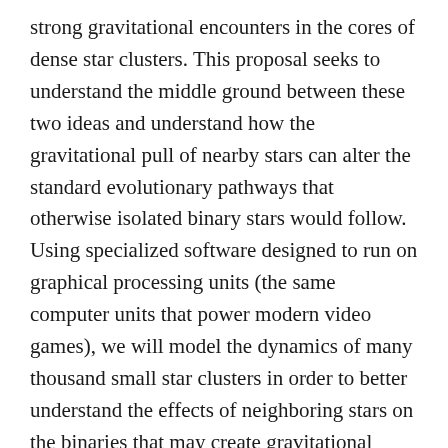strong gravitational encounters in the cores of dense star clusters. This proposal seeks to understand the middle ground between these two ideas and understand how the gravitational pull of nearby stars can alter the standard evolutionary pathways that otherwise isolated binary stars would follow. Using specialized software designed to run on graphical processing units (the same computer units that power modern video games), we will model the dynamics of many thousand small star clusters in order to better understand the effects of neighboring stars on the binaries that may create gravitational waves. This kind of specialized approach will be critical to understanding the coming thousands of detections that LIGO is expected to make over the coming decade.